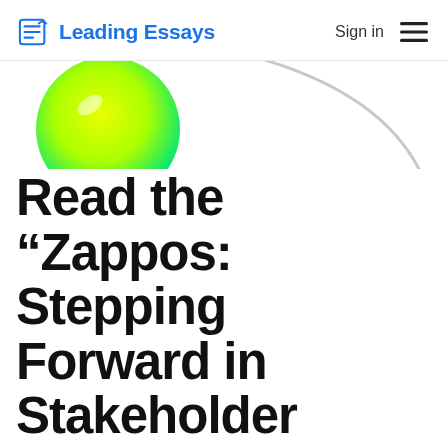Leading Essays | Sign in
[Figure (illustration): Decorative graphic with a yellow-green gradient circle on the left and a light gray arc/curve on the right]
Read the “Zappos: Stepping Forward in Stakeholder Satisfaction” case, located on page 475